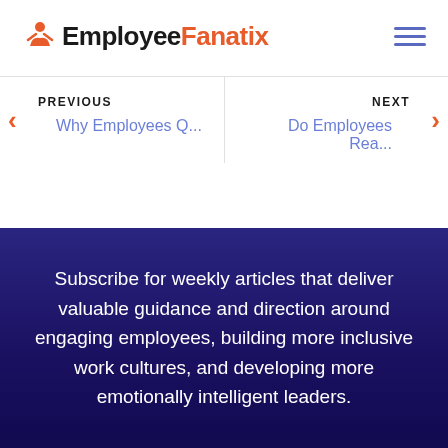[Figure (logo): EmployeeFanatix logo with orange figure icon and text 'Employee' in black and 'Fanatix' in orange]
PREVIOUS
Why Employees Q...
NEXT
Do Employees Rea...
Subscribe for weekly articles that deliver valuable guidance and direction around engaging employees, building more inclusive work cultures, and developing more emotionally intelligent leaders.